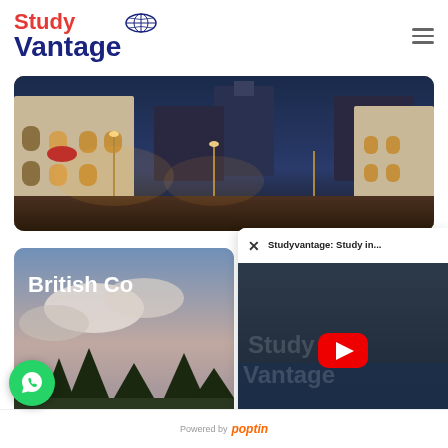[Figure (logo): Study Vantage logo with globe icon - Study in red, Vantage in dark navy blue]
[Figure (photo): Night street scene of an old European-style city (Quebec City), illuminated buildings, cobblestone street, warm golden lights]
[Figure (photo): British Columbia card partially visible, showing cloudy sky landscape with trees, white bold text 'British Co...' on top]
[Figure (screenshot): YouTube video popup overlay showing 'Studyvantage: Study in...' title with YouTube play button on dark background with 'Study Vantage' watermark text]
[Figure (logo): WhatsApp circular button in green with white phone icon]
Powered by poptin